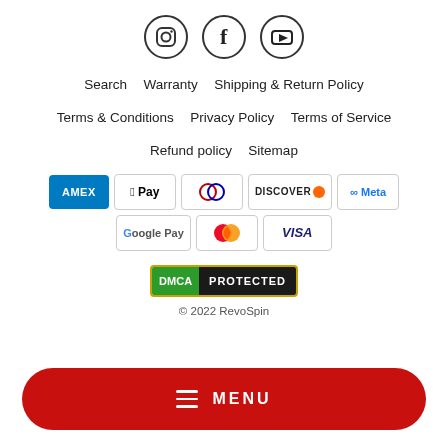[Figure (illustration): Three social media icons in circles: Instagram, Facebook, YouTube]
Search   Warranty   Shipping & Return Policy
Terms & Conditions   Privacy Policy   Terms of Service
Refund policy   Sitemap
[Figure (illustration): Payment method logos: AMEX, Apple Pay, Diners Club, Discover, Meta Pay, Google Pay, Mastercard, Visa]
[Figure (logo): DMCA PROTECTED badge]
© 2022 RevoSpin
≡ MENU